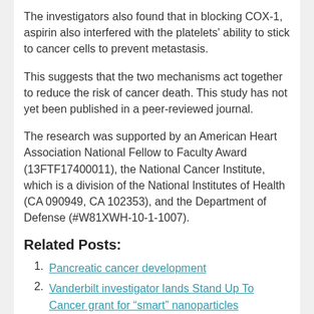The investigators also found that in blocking COX-1, aspirin also interfered with the platelets' ability to stick to cancer cells to prevent metastasis.
This suggests that the two mechanisms act together to reduce the risk of cancer death. This study has not yet been published in a peer-reviewed journal.
The research was supported by an American Heart Association National Fellow to Faculty Award (13FTF17400011), the National Cancer Institute, which is a division of the National Institutes of Health (CA 090949, CA 102353), and the Department of Defense (#W81XWH-10-1-1007).
Related Posts:
Pancreatic cancer development
Vanderbilt investigator lands Stand Up To Cancer grant for “smart” nanoparticles